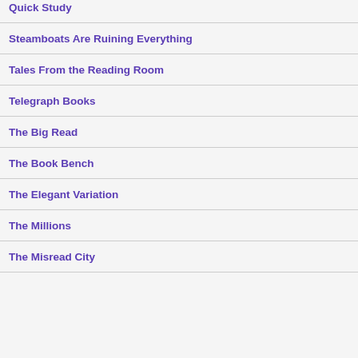Quick Study
Steamboats Are Ruining Everything
Tales From the Reading Room
Telegraph Books
The Big Read
The Book Bench
The Elegant Variation
The Millions
The Misread City